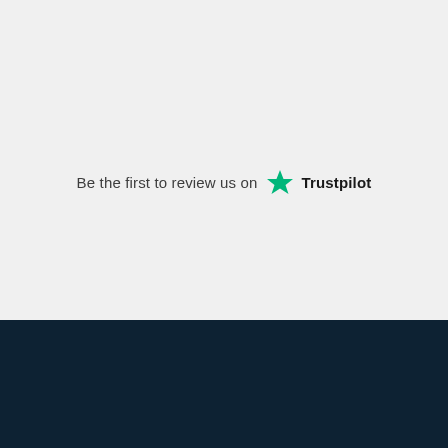[Figure (logo): Trustpilot call-to-action banner with green star logo and text 'Be the first to review us on Trustpilot' on a light grey background above a dark navy footer band.]